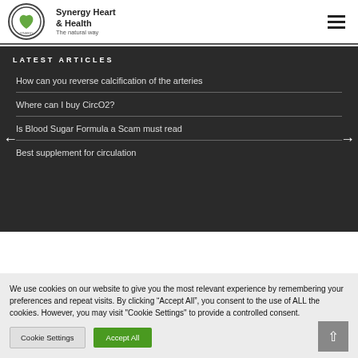[Figure (logo): Synergy Heart & Health circular logo with green leaf/heart icon]
LATEST ARTICLES
How can you reverse calcification of the arteries
Where can I buy CircO2?
Is Blood Sugar Formula a Scam must read
Best supplement for circulation
We use cookies on our website to give you the most relevant experience by remembering your preferences and repeat visits. By clicking “Accept All”, you consent to the use of ALL the cookies. However, you may visit "Cookie Settings" to provide a controlled consent.